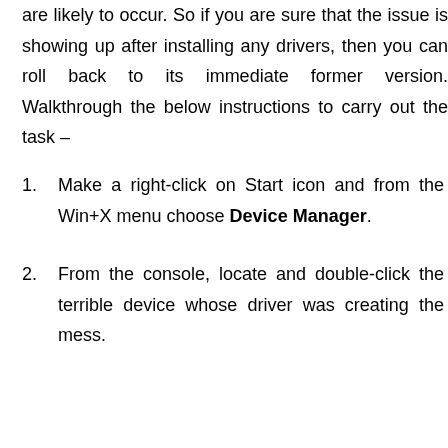are likely to occur. So if you are sure that the issue is showing up after installing any drivers, then you can roll back to its immediate former version. Walkthrough the below instructions to carry out the task –
Make a right-click on Start icon and from the Win+X menu choose Device Manager.
From the console, locate and double-click the terrible device whose driver was creating the mess.